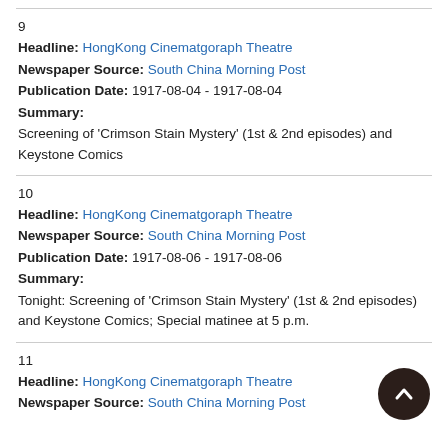9
Headline: HongKong Cinematgoraph Theatre
Newspaper Source: South China Morning Post
Publication Date: 1917-08-04 - 1917-08-04
Summary:
Screening of 'Crimson Stain Mystery' (1st & 2nd episodes) and Keystone Comics
10
Headline: HongKong Cinematgoraph Theatre
Newspaper Source: South China Morning Post
Publication Date: 1917-08-06 - 1917-08-06
Summary:
Tonight: Screening of 'Crimson Stain Mystery' (1st & 2nd episodes) and Keystone Comics; Special matinee at 5 p.m.
11
Headline: HongKong Cinematgoraph Theatre
Newspaper Source: South China Morning Post